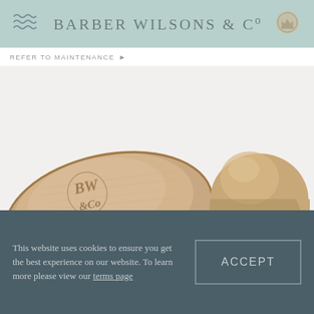BARBER WILSONS & Co
REFER TO MAINTENANCE ▶
[Figure (photo): Two brushed gold/champagne metal dome door stops: one lying on its side showing the BW&Co engraved logo on the base, and one upright showing the smooth dome top.]
This website uses cookies to ensure you get the best experience on our website. To learn more please view our terms page
ACCEPT